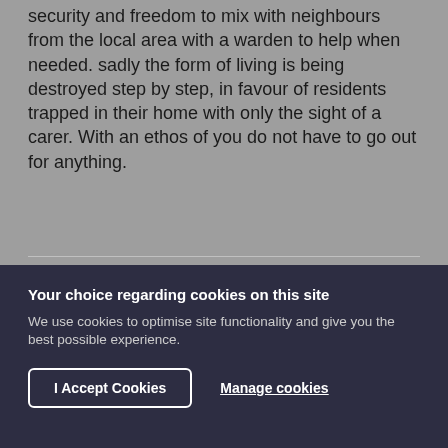security and freedom to mix with neighbours from the local area with a warden to help when needed. sadly the form of living is being destroyed step by step, in favour of residents trapped in their home with only the sight of a carer. With an ethos of you do not have to go out for anything.
Your choice regarding cookies on this site
We use cookies to optimise site functionality and give you the best possible experience.
I Accept Cookies
Manage cookies